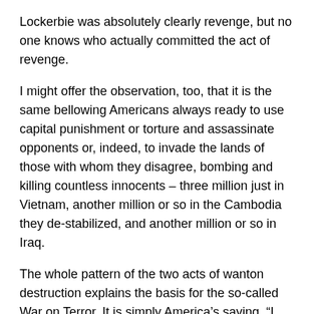Lockerbie was absolutely clearly revenge, but no one knows who actually committed the act of revenge.
I might offer the observation, too, that it is the same bellowing Americans always ready to use capital punishment or torture and assassinate opponents or, indeed, to invade the lands of those with whom they disagree, bombing and killing countless innocents – three million just in Vietnam, another million or so in the Cambodia they de-stabilized, and another million or so in Iraq.
The whole pattern of the two acts of wanton destruction explains the basis for the so-called War on Terror. It is simply America's saying, “I can do to you, but you can’t do to me.”